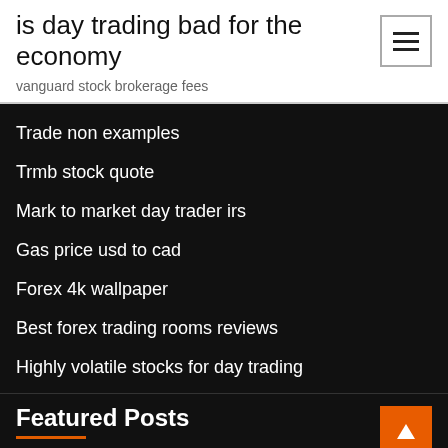is day trading bad for the economy
vanguard stock brokerage fees
Trade non examples
Trmb stock quote
Mark to market day trader irs
Gas price usd to cad
Forex 4k wallpaper
Best forex trading rooms reviews
Highly volatile stocks for day trading
Featured Posts